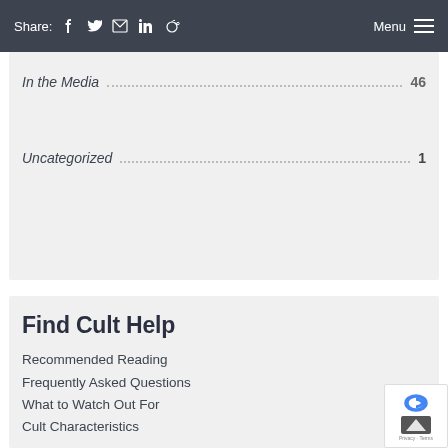Share: [Facebook] [Twitter] [Email] [LinkedIn] [Reddit]   Menu ≡
In the Media · · · · · · · · · · · · · · · · · · · · · · · · · 46
Uncategorized · · · · · · · · · · · · · · · · · · · · · · · · · 1
Find Cult Help
Recommended Reading
Frequently Asked Questions
What to Watch Out For
Cult Characteristics
Questioning Credibility
Find a Qualified Therapist